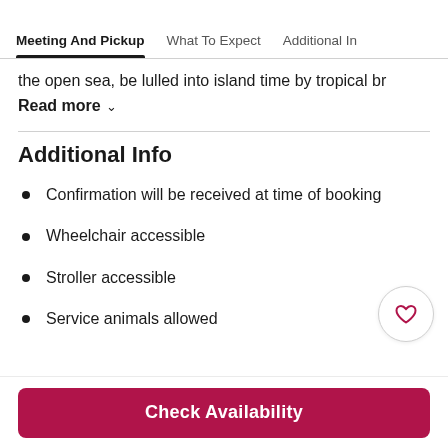Meeting And Pickup | What To Expect | Additional In
the open sea, be lulled into island time by tropical br
Read more
Additional Info
Confirmation will be received at time of booking
Wheelchair accessible
Stroller accessible
Service animals allowed
Check Availability